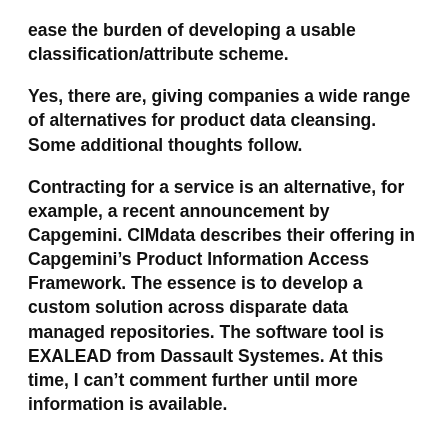ease the burden of developing a usable classification/attribute scheme.
Yes, there are, giving companies a wide range of alternatives for product data cleansing. Some additional thoughts follow.
Contracting for a service is an alternative, for example, a recent announcement by Capgemini. CIMdata describes their offering in Capgemini’s Product Information Access Framework. The essence is to develop a custom solution across disparate data managed repositories. The software tool is EXALEAD from Dassault Systemes. At this time, I can’t comment further until more information is available.